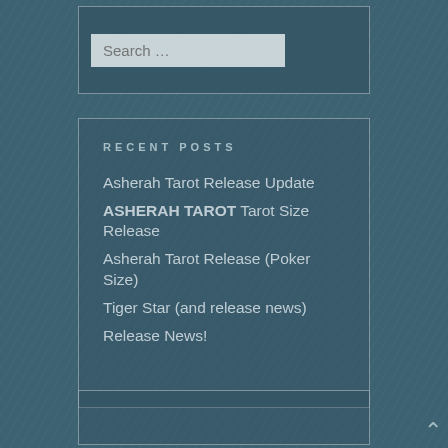[Figure (screenshot): Search box with placeholder text 'Search ...']
RECENT POSTS
Asherah Tarot Release Update
ASHERAH TAROT Tarot Size Release
Asherah Tarot Release (Poker Size)
Tiger Star (and release news)
Release News!
[Figure (screenshot): Empty widget box at the bottom]